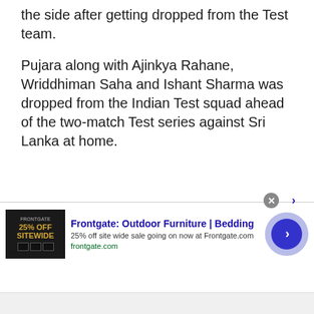the side after getting dropped from the Test team.
Pujara along with Ajinkya Rahane, Wriddhiman Saha and Ishant Sharma was dropped from the Indian Test squad ahead of the two-match Test series against Sri Lanka at home.
[Figure (other): Advertisement banner for Frontgate: Outdoor Furniture and Bedding. Shows 25% off site wide sale going on now at Frontgate.com. Includes product image, text, and a blue arrow button.]